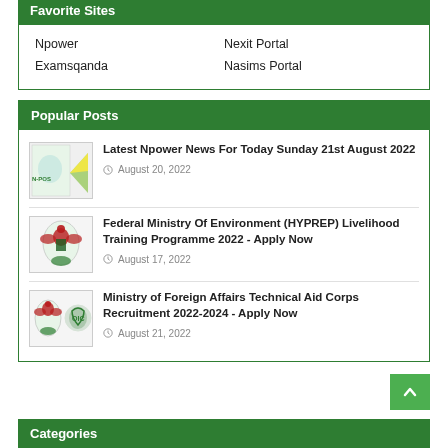Favorite Sites
| Npower | Nexit Portal |
| Examsqanda | Nasims Portal |
Popular Posts
Latest Npower News For Today Sunday 21st August 2022 — August 20, 2022
Federal Ministry Of Environment (HYPREP) Livelihood Training Programme 2022 - Apply Now — August 17, 2022
Ministry of Foreign Affairs Technical Aid Corps Recruitment 2022-2024 - Apply Now — August 21, 2022
Categories